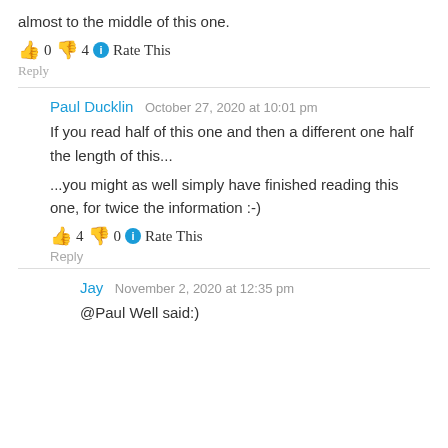almost to the middle of this one.
👍 0 👎 4 ℹ Rate This
Reply
Paul Ducklin   October 27, 2020 at 10:01 pm
If you read half of this one and then a different one half the length of this...
...you might as well simply have finished reading this one, for twice the information :-)
👍 4 👎 0 ℹ Rate This
Reply
Jay   November 2, 2020 at 12:35 pm
@Paul Well said:)